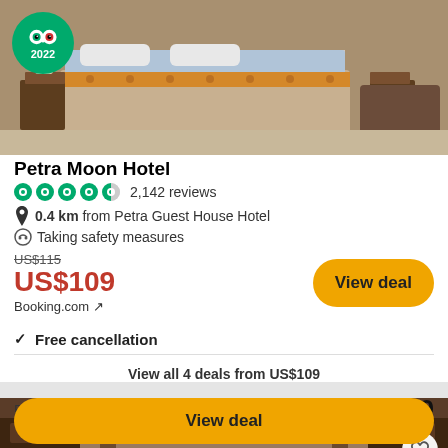[Figure (photo): Hotel room photo showing a bed with blue and orange bedding, nightstands, and seating area. TripAdvisor 2022 badge overlaid in top-left corner.]
Petra Moon Hotel
4.5 stars · 2,142 reviews
0.4 km from Petra Guest House Hotel
Taking safety measures
US$115 (strikethrough) US$109 Booking.com ↗
View deal
✓ Free cancellation
View all 4 deals from US$109
[Figure (photo): Interior hotel lobby or corridor photo showing ornate ceiling lighting, dark wood paneling, and architectural details.]
Booking.com ↗ US$149
View deal